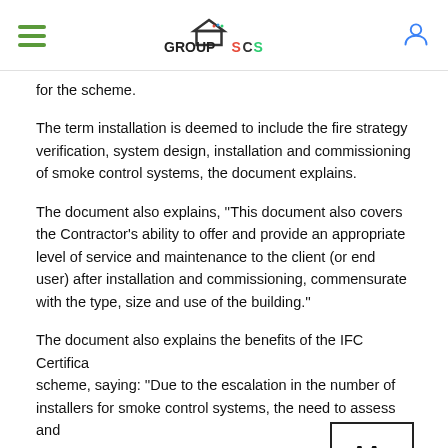GROUP SCS
for the scheme.
The term installation is deemed to include the fire strategy verification, system design, installation and commissioning of smoke control systems, the document explains.
The document also explains, ''This document also covers the Contractor's ability to offer and provide an appropriate level of service and maintenance to the client (or end user) after installation and commissioning, commensurate with the type, size and use of the building.''
The document also explains the benefits of the IFC Certificate scheme, saying: ''Due to the escalation in the number of installers for smoke control systems, the need to assess and